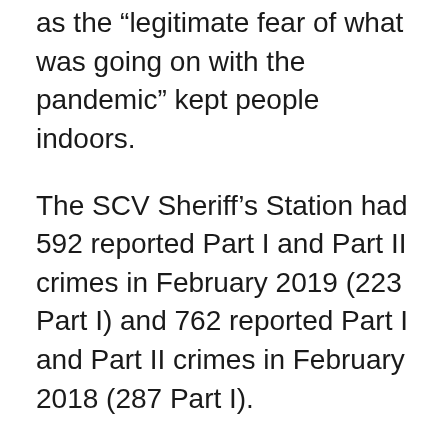as the “legitimate fear of what was going on with the pandemic” kept people indoors.
The SCV Sheriff’s Station had 592 reported Part I and Part II crimes in February 2019 (223 Part I) and 762 reported Part I and Part II crimes in February 2018 (287 Part I).